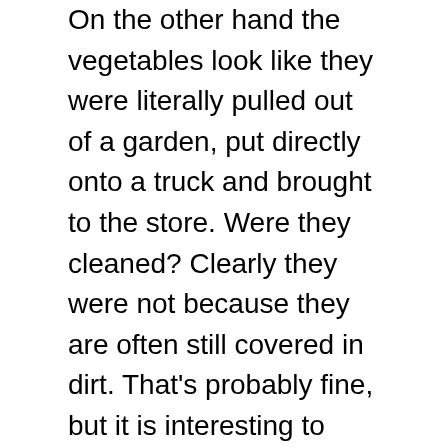On the other hand the vegetables look like they were literally pulled out of a garden, put directly onto a truck and brought to the store. Were they cleaned? Clearly they were not because they are often still covered in dirt. That's probably fine, but it is interesting to note. It also means that the produce, the milk and often the meat goes bad quicker than in North America. Our refrigerator is often the victim of something we left for a day or two too long. Grocery stores, the bigger or cheaper ones anyway, are not always as quick to replace old produce so old, not quite rotting, food is sitting out, sometimes with swarms of fruit flies that need to be shoed away.
There does seem to be a greater appreciation for fresh food from the people here, from what I can tell in talking to people. I would argue that this leads to healthier diets, but what do I know? There are always many farmers' markets selling fresh fruit, berries and vegetables on certain days of the week.